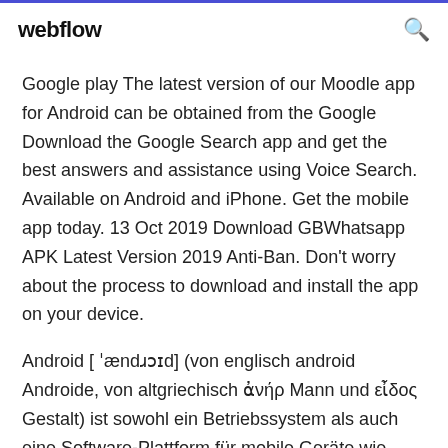webflow
Google play The latest version of our Moodle app for Android can be obtained from the Google  Download the Google Search app and get the best answers and assistance using Voice Search. Available on Android and iPhone. Get the mobile app today. 13 Oct 2019 Download GBWhatsapp APK Latest Version 2019 Anti-Ban. Don't worry about the process to download and install the app on your device.
Android [ ˈændɹɔɪd] (von englisch android Androide, von altgriechisch ἀνήρ Mann und εἶδος Gestalt) ist sowohl ein Betriebssystem als auch eine Software-Plattform für mobile Geräte wie Smartphones, Mobiltelefone, Fernseh...